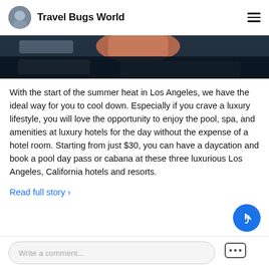Travel Bugs World
[Figure (photo): Partial photo showing a person at a pool or outdoor setting with dark background, cropped at top of page]
With the start of the summer heat in Los Angeles, we have the ideal way for you to cool down. Especially if you crave a luxury lifestyle, you will love the opportunity to enjoy the pool, spa, and amenities at luxury hotels for the day without the expense of a hotel room. Starting from just $30, you can have a daycation and book a pool day pass or cabana at these three luxurious Los Angeles, California hotels and resorts.
Read full story ›